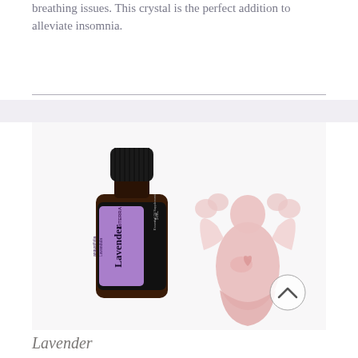breathing issues. This crystal is the perfect addition to alleviate insomnia.
[Figure (photo): A doTERRA Lavender essential oil bottle (5mL, Lavandula angustifolia) next to a pink rose quartz angel crystal figurine on a white background.]
Lavender